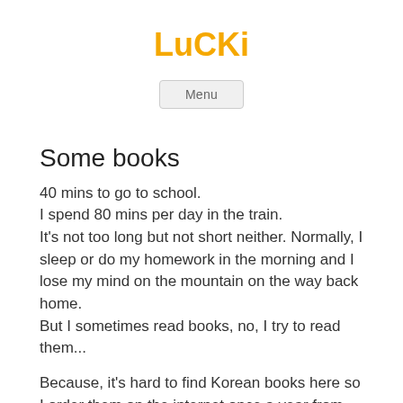LuCKi
Menu
Some books
40 mins to go to school.
I spend 80 mins per day in the train.
It’s not too long but not short neither. Normally, I sleep or do my homework in the morning and I lose my mind on the mountain on the way back home.
But I sometimes read books, no, I try to read them...
Because, it’s hard to find Korean books here so I order them on the internet once a year from Korea. Then, it cost 3 times more than normal book price cus of delivery fee. From time